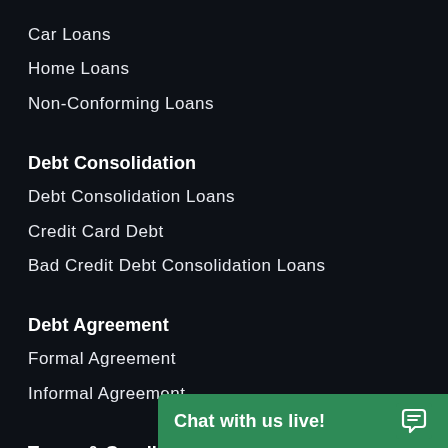Car Loans
Home Loans
Non-Conforming Loans
Debt Consolidation
Debt Consolidation Loans
Credit Card Debt
Bad Credit Debt Consolidation Loans
Debt Agreement
Formal Agreement
Informal Agreement
Terms & Conditions
Privacy Policy
Financial Disclaimer
No Fix No Pay Pol…
Complaint Handlin…